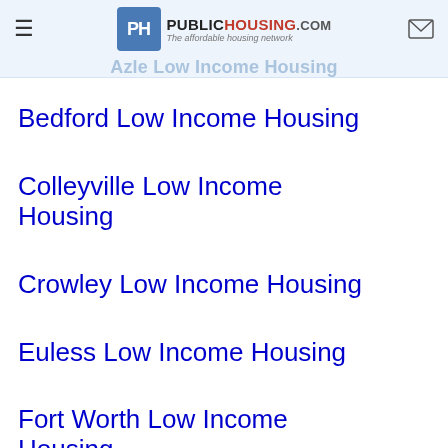PublicHousing.com – The affordable housing network | Azle Low Income Housing
Bedford Low Income Housing
Colleyville Low Income Housing
Crowley Low Income Housing
Euless Low Income Housing
Fort Worth Low Income Housing
Grapevine Low Income Housing